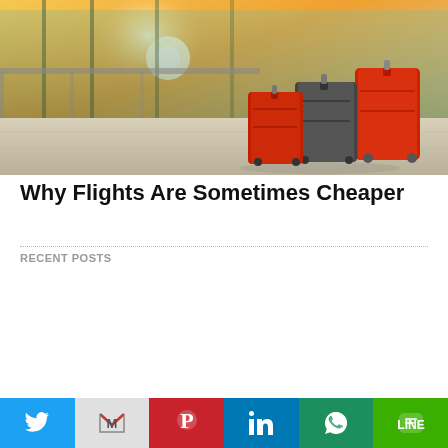[Figure (photo): Airport terminal with red and grey suitcases/luggage on tiled floor, warm sunlight through glass windows]
Why Flights Are Sometimes Cheaper
RECENT POSTS
[Figure (photo): City skyline at sunset/dusk with tall skyscraper (Burj Khalifa style) and dramatic orange and purple sky, with a circular play/arrow button overlay]
[Figure (infographic): Social media sharing bar with Twitter, Gmail, Pinterest, LinkedIn, WhatsApp, and LINE buttons]